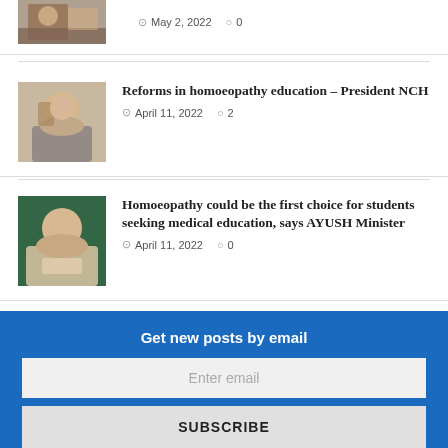[Figure (photo): Partial photo of person receiving award, cropped at top]
May 2, 2022  0
[Figure (photo): Portrait photo of a man in grey shirt]
Reforms in homoeopathy education – President NCH
April 11, 2022  2
[Figure (photo): Portrait photo of a man smiling, dark background]
Homoeopathy could be the first choice for students seeking medical education, says AYUSH Minister
April 11, 2022  0
Get new posts by email
Enter email
SUBSCRIBE